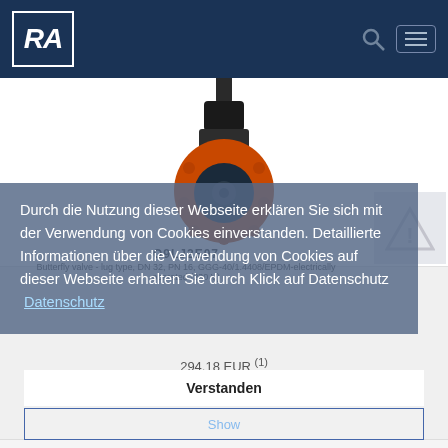RA
[Figure (photo): Orange butterfly valve / lug type valve with actuator, viewed from front, mounted on white background]
O9LJ2E07
Butterfly valve - lug type, DN 32, PN 16, GGG-40/1.4408/EPDM-electrically operated (230 V)
Durch die Nutzung dieser Webseite erklären Sie sich mit der Verwendung von Cookies einverstanden. Detaillierte Informationen über die Verwendung von Cookies auf dieser Webseite erhalten Sie durch Klick auf Datenschutz  Datenschutz
294.18 EUR (1)
Verstanden
Show